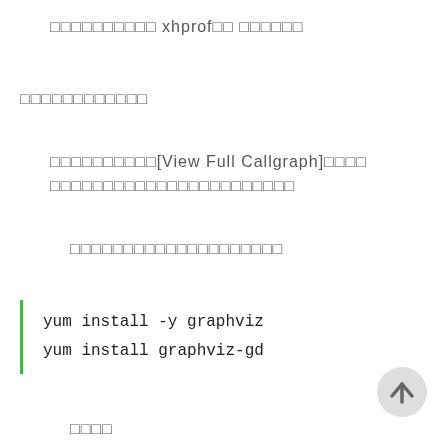□□□□□□□□□□ xhprof□□ □□□□□□
□□□□□□□□□□□□
□□□□□□□□□□[View Full Callgraph]□□□□
□□□□□□□□□□□□□□□□□□□□□□□
□□□□□□□□□□□□□□□□□□□□
yum install -y graphviz
yum install graphviz-gd
□□□□